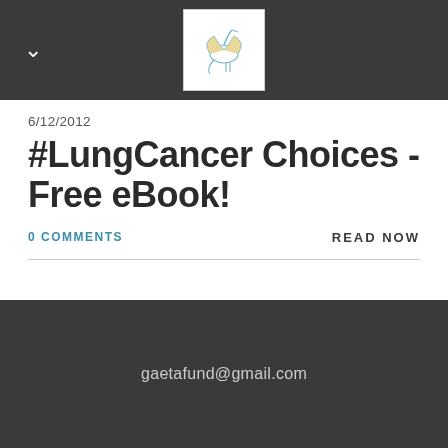[Figure (logo): Website logo with bird/crane illustration on white background in dark top navigation bar]
6/12/2012
#LungCancer Choices - Free eBook!
0 COMMENTS
READ NOW
DETAILS +
gaetafund@gmail.com